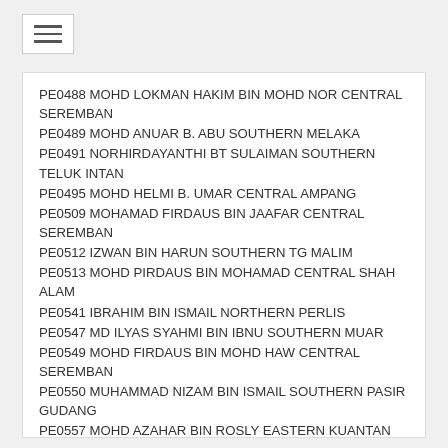PE0488 MOHD LOKMAN HAKIM BIN MOHD NOR CENTRAL SEREMBAN
PE0489 MOHD ANUAR B. ABU SOUTHERN MELAKA
PE0491 NORHIRDAYANTHI BT SULAIMAN SOUTHERN TELUK INTAN
PE0495 MOHD HELMI B. UMAR CENTRAL AMPANG
PE0509 MOHAMAD FIRDAUS BIN JAAFAR CENTRAL SEREMBAN
PE0512 IZWAN BIN HARUN SOUTHERN TG MALIM
PE0513 MOHD PIRDAUS BIN MOHAMAD CENTRAL SHAH ALAM
PE0541 IBRAHIM BIN ISMAIL NORTHERN PERLIS
PE0547 MD ILYAS SYAHMI BIN IBNU SOUTHERN MUAR
PE0549 MOHD FIRDAUS BIN MOHD HAW CENTRAL SEREMBAN
PE0550 MUHAMMAD NIZAM BIN ISMAIL SOUTHERN PASIR GUDANG
PE0557 MOHD AZAHAR BIN ROSLY EASTERN KUANTAN
PE0570 MUHAMAD AMIRUL ASYROFUDIN BIN BORHANNODIN SOUTHERN JOHOR